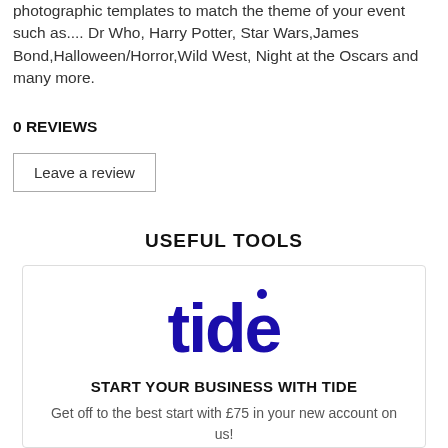photographic templates to match the theme of your event such as.... Dr Who, Harry Potter, Star Wars,James Bond,Halloween/Horror,Wild West, Night at the Oscars and many more.
0 REVIEWS
Leave a review
USEFUL TOOLS
[Figure (logo): Tide business banking logo in bold blue text with a dot above the letter i]
START YOUR BUSINESS WITH TIDE
Get off to the best start with £75 in your new account on us!